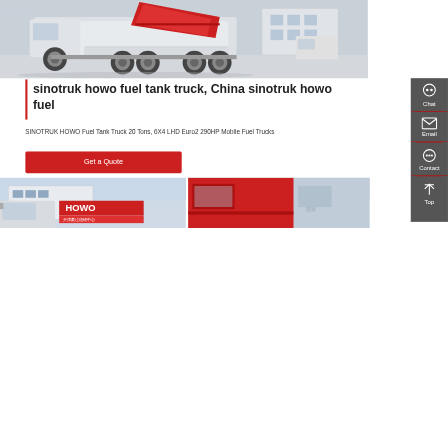[Figure (photo): Photo of a Sinotruk HOWO truck with red cabin tilted open, white truck body, multiple axles, parked in an industrial/yard setting.]
sinotruk howo fuel tank truck, China sinotruk howo fuel
SINOTRUK HOWO Fuel Tank Truck 20 Tons, 6X4 LHD Euro2 290HP Mobile Fuel Trucks
Get a Quote
[Figure (photo): Bottom left: Photo showing HOWO truck with Chinese signage in background (天津豪庄信锦中心).]
[Figure (photo): Bottom right: Photo showing red HOWO truck cabin close-up.]